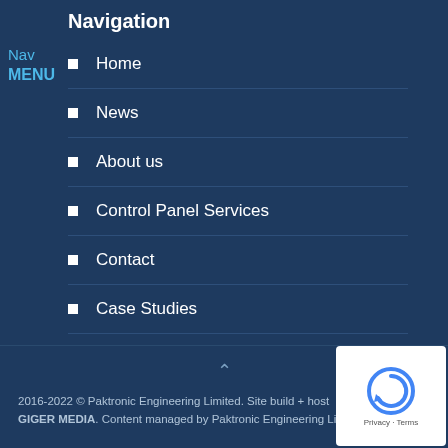Navigation
Nav
MENU
Home
News
About us
Control Panel Services
Contact
Case Studies
2016-2022 © Paktronic Engineering Limited. Site build + host GIGER MEDIA. Content managed by Paktronic Engineering Li...